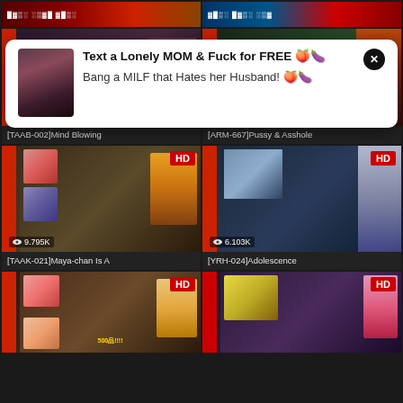[Figure (screenshot): Adult video website screenshot with popup advertisement overlay. Grid of video thumbnails with view counts and titles. Popup shows 'Text a Lonely MOM & Fuck for FREE' and 'Bang a MILF that Hates her Husband!' with a woman photo. Video cards: [TAAB-002]Mind Blowing (13.229K views), [ARM-667]Pussy & Asshole (8.764K views), [TAAK-021]Maya-chan Is A (9.795K views), [YRH-024]Adolescence (6.103K views), two more partially visible HD cards at bottom.]